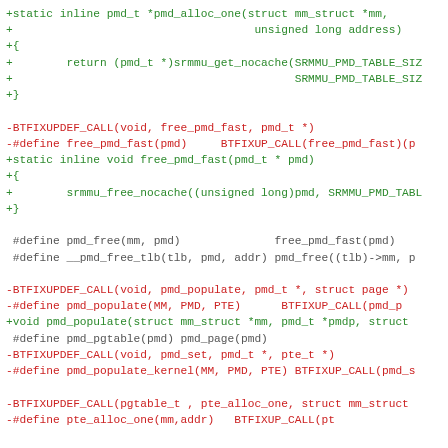Code diff showing changes to pmd allocation and free functions in a Linux kernel source file, including BTFIXUPDEF_CALL macros replaced by static inline functions.